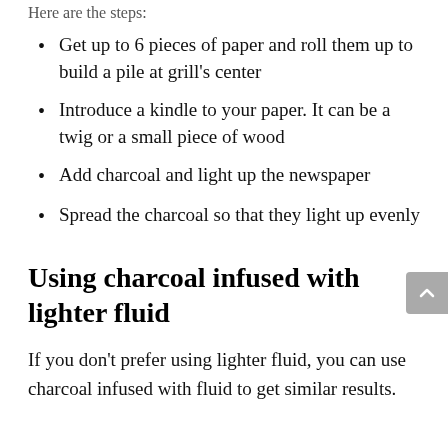Here are the steps:
Get up to 6 pieces of paper and roll them up to build a pile at grill’s center
Introduce a kindle to your paper. It can be a twig or a small piece of wood
Add charcoal and light up the newspaper
Spread the charcoal so that they light up evenly
Using charcoal infused with lighter fluid
If you don’t prefer using lighter fluid, you can use charcoal infused with fluid to get similar results.